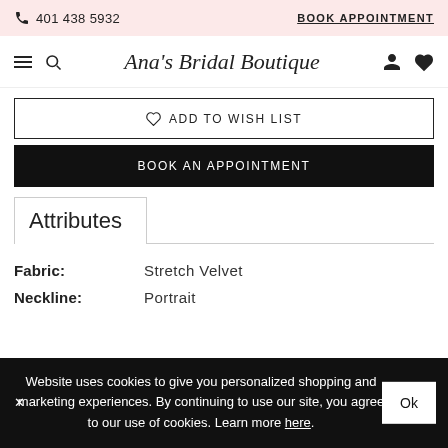401 438 5932  BOOK APPOINTMENT
Ana's Bridal Boutique
♡ ADD TO WISH LIST
BOOK AN APPOINTMENT
Attributes
Fabric: Stretch Velvet
Neckline: Portrait
Website uses cookies to give you personalized shopping and marketing experiences. By continuing to use our site, you agree to our use of cookies. Learn more here.